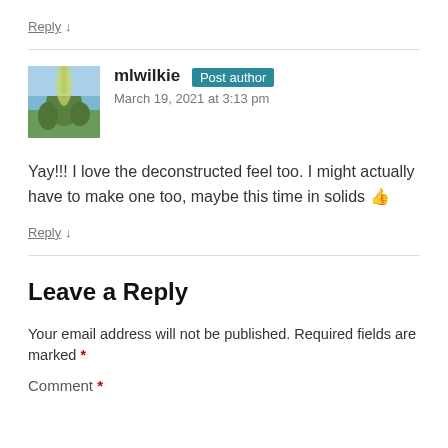Reply ↓
mlwilkie Post author
March 19, 2021 at 3:13 pm
Yay!!! I love the deconstructed feel too. I might actually have to make one too, maybe this time in solids 👍
Reply ↓
Leave a Reply
Your email address will not be published. Required fields are marked *
Comment *